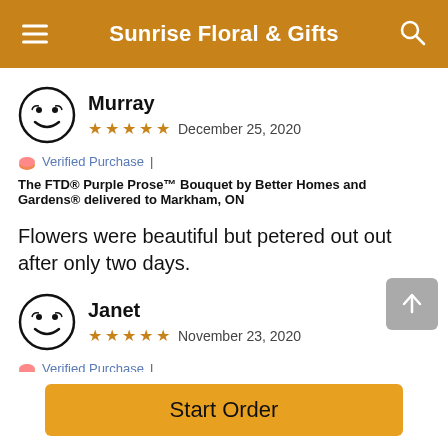Sunrise Floral & Gifts
Murray
★★★★★ December 25, 2020
💌 Verified Purchase | The FTD® Purple Prose™ Bouquet by Better Homes and Gardens® delivered to Markham, ON
Flowers were beautiful but petered out out after only two days.
Janet
★★★★★ November 23, 2020
💌 Verified Purchase | The FTD® Beloved® Bouquet delivered to Markham,
Start Order